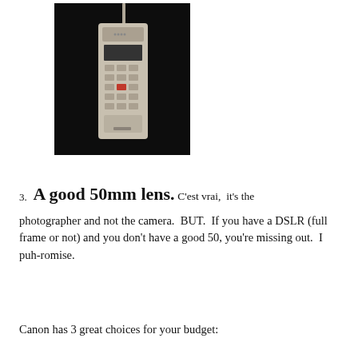[Figure (photo): Vintage brick mobile phone (likely Motorola DynaTAC) on a dark background, standing upright with antenna extended]
3.  A good 50mm lens.  C'est vrai,  it's the photographer and not the camera.  BUT.  If you have a DSLR (full frame or not) and you don't have a good 50, you're missing out.  I puh-romise.
Canon has 3 great choices for your budget: